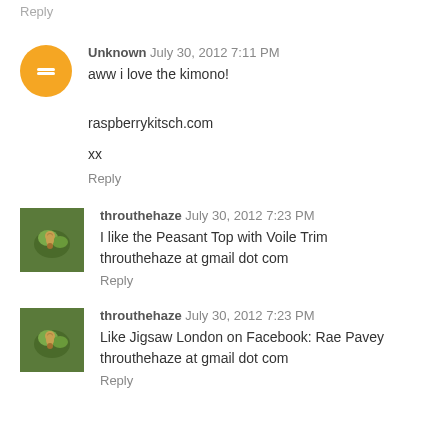Reply
Unknown  July 30, 2012 7:11 PM
aww i love the kimono!
raspberrykitsch.com
xx
Reply
throuthehaze  July 30, 2012 7:23 PM
I like the Peasant Top with Voile Trim
throuthehaze at gmail dot com
Reply
throuthehaze  July 30, 2012 7:23 PM
Like Jigsaw London on Facebook: Rae Pavey
throuthehaze at gmail dot com
Reply